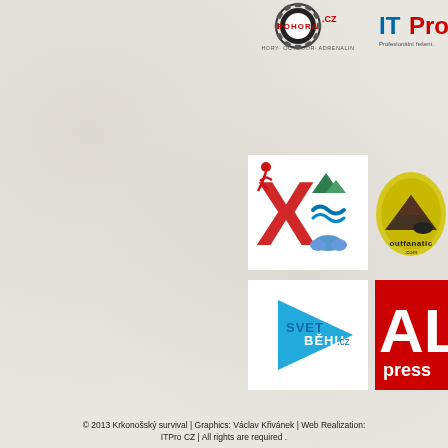[Figure (logo): POHORA.CZ logo — circular saw-blade style emblem with text HORY·OUTDOOR·ADRENALIN below]
[Figure (logo): ITPro logo — stylized text ITPro with tagline Profesionální řešení]
[Figure (logo): X outdoor activity logo — red letter X with outdoor activity icons (mountains, waves, clouds) and red running figure]
[Figure (logo): Outfanatic.com logo — yellow/brown oval with mountain silhouette and motorcycle, text outfanatic.com]
[Figure (logo): SvetBehu.cz logo — blue play-button triangle with SVETBEHU.cz text]
[Figure (logo): AL press logo — red background with large white letters AL and press below]
© 2013 Krkonošský survival | Graphics: Václav Křivánek | Web Realization: ITPro CZ | All rights are required .